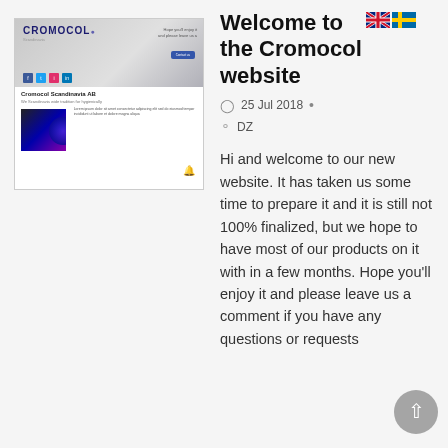[Figure (screenshot): Screenshot of the Cromocol Scandinavia AB website showing the company header with logo, navigation, and a product image area with blue/purple tones.]
Welcome to the Cromocol website
25 Jul 2018
DZ
Hi and welcome to our new website. It has taken us some time to prepare it and it is still not 100% finalized, but we hope to have most of our products on it with in a few months. Hope you'll enjoy it and please leave us a comment if you have any questions or requests